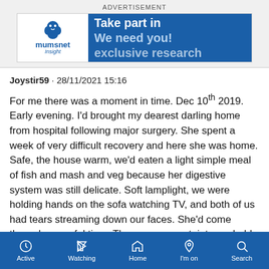ADVERTISEMENT
[Figure (infographic): Mumsnet Insight advertisement banner: white left panel with Mumsnet logo and 'insight' text, blue right panel with text 'Take part in We need you! exclusive research']
Joystir59 · 28/11/2021 15:16
For me there was a moment in time. Dec 10th 2019. Early evening. I'd brought my dearest darling home from hospital following major surgery. She spent a week of very difficult recovery and here she was home. Safe, the house warm, we'd eaten a light simple meal of fish and mash and veg because her digestive system was still delicate. Soft lamplight, we were holding hands on the sofa watching TV, and both of us had tears streaming down our faces. She'd come through an awful time. There was uncertainty, probably more treatment ahead. But we'd arrived in this
Active  Watching  Home  I'm on  Search